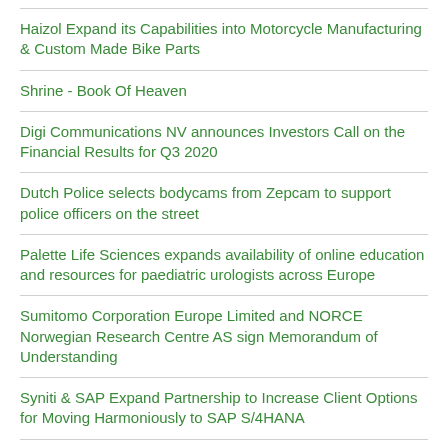Haizol Expand its Capabilities into Motorcycle Manufacturing & Custom Made Bike Parts
Shrine - Book Of Heaven
Digi Communications NV announces Investors Call on the Financial Results for Q3 2020
Dutch Police selects bodycams from Zepcam to support police officers on the street
Palette Life Sciences expands availability of online education and resources for paediatric urologists across Europe
Sumitomo Corporation Europe Limited and NORCE Norwegian Research Centre AS sign Memorandum of Understanding
Syniti & SAP Expand Partnership to Increase Client Options for Moving Harmoniously to SAP S/4HANA